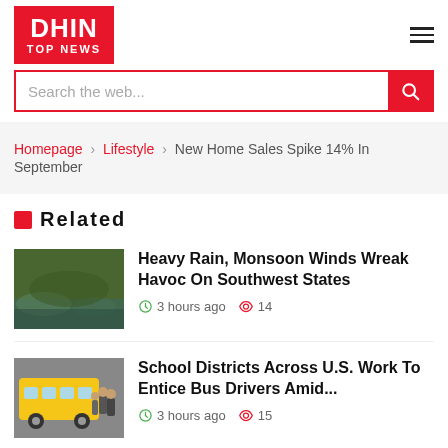DHIN TOP NEWS
Search the web...
Homepage › Lifestyle › New Home Sales Spike 14% In September
Related
Heavy Rain, Monsoon Winds Wreak Havoc On Southwest States
3 hours ago   14
School Districts Across U.S. Work To Entice Bus Drivers Amid...
3 hours ago   15